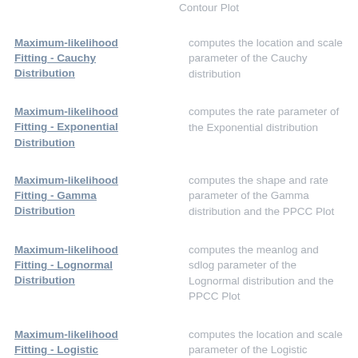Contour Plot
Maximum-likelihood Fitting - Cauchy Distribution
Maximum-likelihood Fitting - Exponential Distribution
Maximum-likelihood Fitting - Gamma Distribution
Maximum-likelihood Fitting - Lognormal Distribution
Maximum-likelihood Fitting - Logistic Distribution